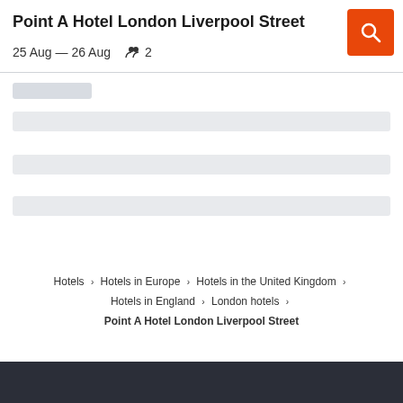Point A Hotel London Liverpool Street
25 Aug — 26 Aug  👥 2
[Figure (other): Orange search button with magnifying glass icon]
[Loading placeholder bar 1]
[Loading placeholder bar 2]
[Loading placeholder bar 3]
[Loading placeholder bar 4]
Hotels  >  Hotels in Europe  >  Hotels in the United Kingdom  >  Hotels in England  >  London hotels  >  Point A Hotel London Liverpool Street